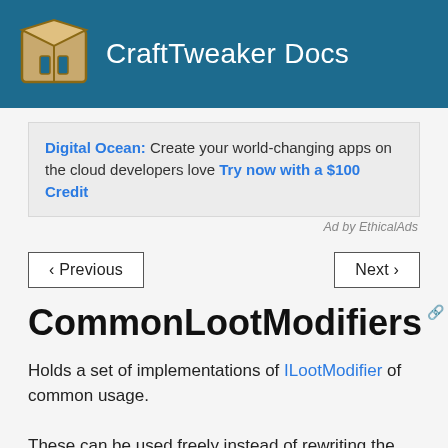CraftTweaker Docs
Digital Ocean: Create your world-changing apps on the cloud developers love Try now with a $100 Credit
Ad by EthicalAds
‹ Previous
Next ›
CommonLootModifiers
Holds a set of implementations of ILootModifier of common usage.
These can be used freely instead of rewriting the same code more than once